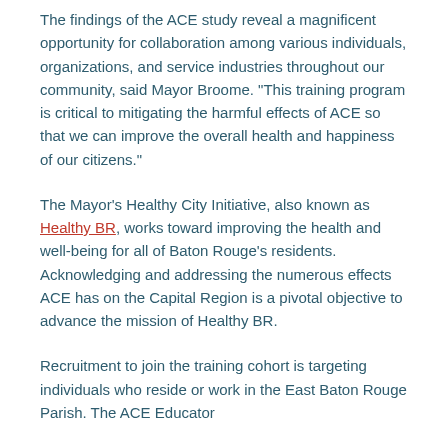The findings of the ACE study reveal a magnificent opportunity for collaboration among various individuals, organizations, and service industries throughout our community, said Mayor Broome. “This training program is critical to mitigating the harmful effects of ACE so that we can improve the overall health and happiness of our citizens.”
The Mayor’s Healthy City Initiative, also known as Healthy BR, works toward improving the health and well-being for all of Baton Rouge’s residents. Acknowledging and addressing the numerous effects ACE has on the Capital Region is a pivotal objective to advance the mission of Healthy BR.
Recruitment to join the training cohort is targeting individuals who reside or work in the East Baton Rouge Parish. The ACE Educator